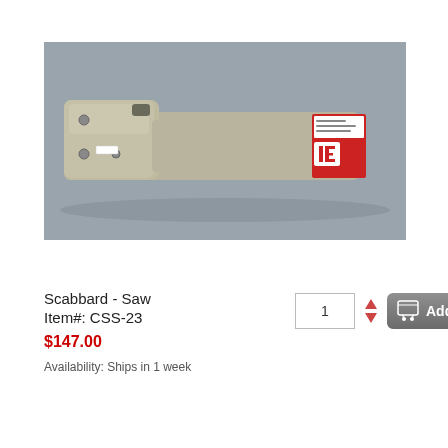[Figure (photo): A tan/beige colored saw scabbard (protective case/sheath for a saw blade) photographed on a gray background. The scabbard is long and flat with a red and white label/sticker on one end showing a logo with the letters 'IE' in red.]
Scabbard - Saw
Item#: CSS-23
$147.00
Availability: Ships in 1 week